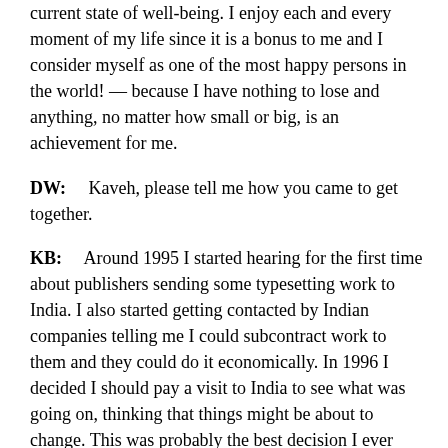current state of well-being. I enjoy each and every moment of my life since it is a bonus to me and I consider myself as one of the most happy persons in the world! — because I have nothing to lose and anything, no matter how small or big, is an achievement for me.
DW:    Kaveh, please tell me how you came to get together.
KB:    Around 1995 I started hearing for the first time about publishers sending some typesetting work to India. I also started getting contacted by Indian companies telling me I could subcontract work to them and they could do it economically. In 1996 I decided I should pay a visit to India to see what was going on, thinking that things might be about to change. This was probably the best decision I ever made in my entire life!